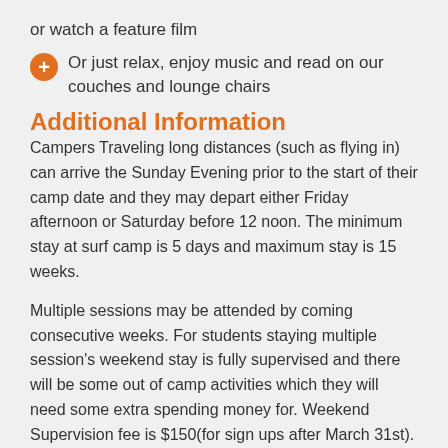or watch a feature film
Or just relax, enjoy music and read on our couches and lounge chairs
Additional Information
Campers Traveling long distances (such as flying in) can arrive the Sunday Evening prior to the start of their camp date and they may depart either Friday afternoon or Saturday before 12 noon. The minimum stay at surf camp is 5 days and maximum stay is 15 weeks.
Multiple sessions may be attended by coming consecutive weeks. For students staying multiple session's weekend stay is fully supervised and there will be some out of camp activities which they will need some extra spending money for. Weekend Supervision fee is $150(for sign ups after March 31st). Students staying weekends will need extra spending money for outside of